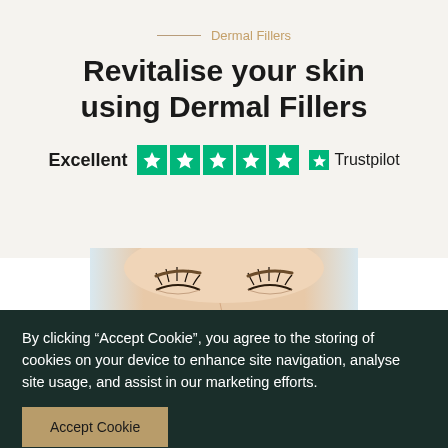Dermal Fillers
Revitalise your skin using Dermal Fillers
[Figure (logo): Trustpilot Excellent 5-star rating badge with green star icons and Trustpilot branding]
[Figure (photo): Close-up photo of a woman's face with eyes closed, showing smooth skin around the eye area]
By clicking “Accept Cookie”, you agree to the storing of cookies on your device to enhance site navigation, analyse site usage, and assist in our marketing efforts.
Accept Cookie